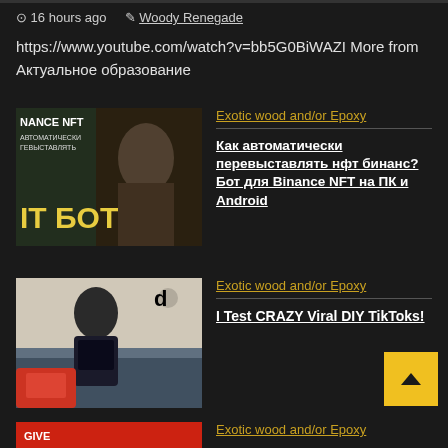⊙ 16 hours ago  ✎ Woody Renegade
https://www.youtube.com/watch?v=bb5G0BiWAZI More from Актуальное образование
[Figure (screenshot): Video thumbnail for Binance NFT bot video with yellow/green tones showing 'NANCE NFT' and 'БОТ' text]
Exotic wood and/or Epoxy
Как автоматически перевыставлять нфт бинанс? Бот для Binance NFT на ПК и Android
[Figure (screenshot): Video thumbnail showing a person with TikTok logo, upside down text, and vehicles]
Exotic wood and/or Epoxy
I Test CRAZY Viral DIY TikToks!
[Figure (screenshot): Partial video thumbnail with red background visible at bottom of page]
Exotic wood and/or Epoxy